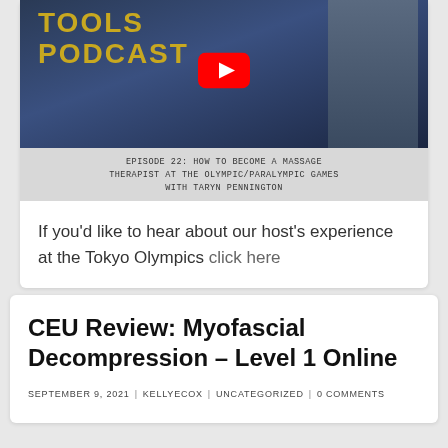[Figure (screenshot): YouTube thumbnail for podcast episode: 'Tools Podcast' with a woman in a USA Olympic jacket smiling. Red YouTube play button visible. Episode 22: How to become a massage therapist at the Olympic/Paralympic games with Taryn Pennington.]
If you'd like to hear about our host's experience at the Tokyo Olympics click here
CEU Review: Myofascial Decompression – Level 1 Online
SEPTEMBER 9, 2021  |  KELLYECOX  |  UNCATEGORIZED  |  0 COMMENTS